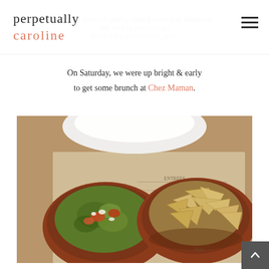perpetually caroline
chowing down on gelato, sipping some pink lemonade, and reading some blogs! It was a big-girl moment, guys.
On Saturday, we were up bright & early to get some brunch at Chez Maman.
[Figure (photo): Bowl of guacamole and a bowl of tortilla chips on a restaurant table with a menu visible underneath]